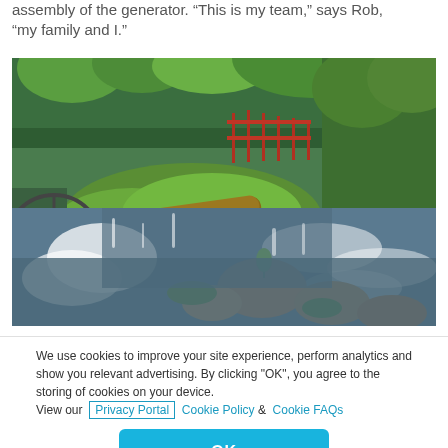assembly of the generator. “This is my team,” says Rob, “my family and I.”
[Figure (photo): Aerial/elevated view of a rushing river with white water rapids flowing over rocks, with a water wheel on the left side, green grass, trees, and a red fence in the background.]
We use cookies to improve your site experience, perform analytics and show you relevant advertising. By clicking “OK”, you agree to the storing of cookies on your device. View our Privacy Portal Cookie Policy & Cookie FAQs
OK